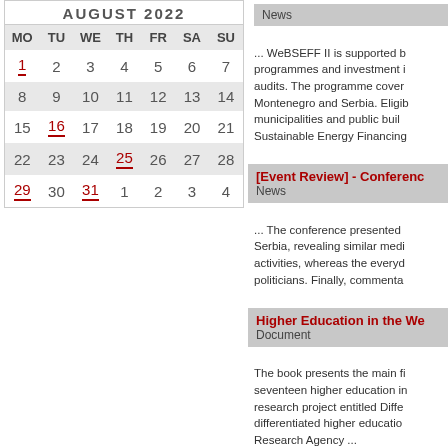| MO | TU | WE | TH | FR | SA | SU |
| --- | --- | --- | --- | --- | --- | --- |
| 1 | 2 | 3 | 4 | 5 | 6 | 7 |
| 8 | 9 | 10 | 11 | 12 | 13 | 14 |
| 15 | 16 | 17 | 18 | 19 | 20 | 21 |
| 22 | 23 | 24 | 25 | 26 | 27 | 28 |
| 29 | 30 | 31 | 1 | 2 | 3 | 4 |
... WeBSEFF II is supported by programmes and investment audits. The programme covers Montenegro and Serbia. Eligible municipalities and public buildings. Sustainable Energy Financing ...
[Event Review] - Conference
News
... The conference presented Serbia, revealing similar media activities, whereas the everyday politicians. Finally, commenta...
Higher Education in the We...
Document
The book presents the main findings seventeen higher education institutions research project entitled Differentiated higher education Research Agency ...